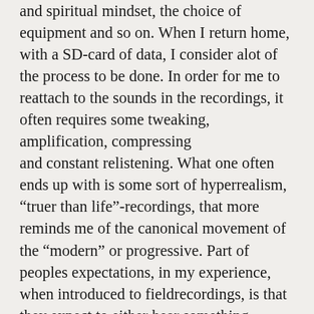and spiritual mindset, the choice of equipment and so on. When I return home, with a SD-card of data, I consider alot of the process to be done. In order for me to reattach to the sounds in the recordings, it often requires some tweaking, amplification, compressing and constant relistening. What one often ends up with is some sort of hyperrealism, “truer than life”-recordings, that more reminds me of the canonical movement of the “modern” or progressive. Part of peoples expectations, in my experience, when introduced to fieldrecordings, is that they expect to either hear something spectacular or something bland. To discover something beautiful in modest recordings takes time and experience. If we as fieldrecordist constantly chase the most exotic sounds or locations, to “sell” our “genre” I feel we shoot ourselves in the foot. Its more important to me that people listen and reflect in their surroundings, than that they are listening to elit. For me, as in the